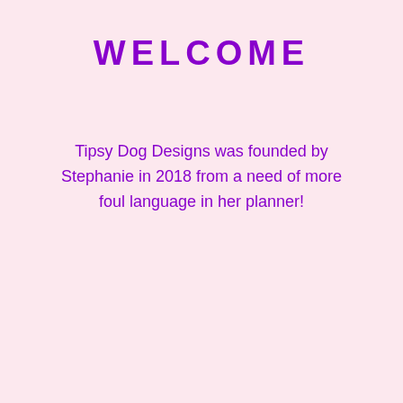WELCOME
Tipsy Dog Designs was founded by Stephanie in 2018 from a need of more foul language in her planner!